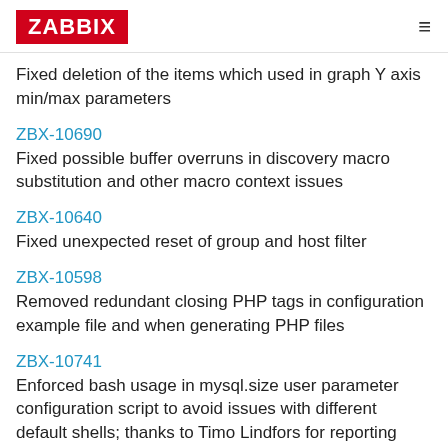ZABBIX
Fixed deletion of the items which used in graph Y axis min/max parameters
ZBX-10690
Fixed possible buffer overruns in discovery macro substitution and other macro context issues
ZBX-10640
Fixed unexpected reset of group and host filter
ZBX-10598
Removed redundant closing PHP tags in configuration example file and when generating PHP files
ZBX-10741
Enforced bash usage in mysql.size user parameter configuration script to avoid issues with different default shells; thanks to Timo Lindfors for reporting